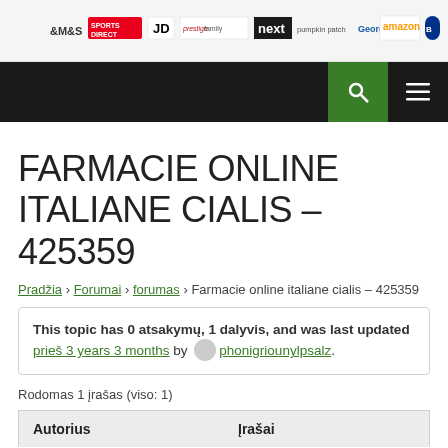[Figure (logo): Banner strip with retail brand logos: M&S, Sports Direct, JD, Prestige Family, Next, Pumpkin Patch, George, Amazon, Boots]
[Figure (screenshot): Black navigation bar with green search button and hamburger menu button]
FARMACIE ONLINE ITALIANE CIALIS – 425359
Pradžia › Forumai › forumas › Farmacie online italiane cialis – 425359
This topic has 0 atsakymų, 1 dalyvis, and was last updated prieš 3 years 3 months by phonigriounylpsalz.
Rodomas 1 įrašas (viso: 1)
| Autorius | Įrašai |
| --- | --- |